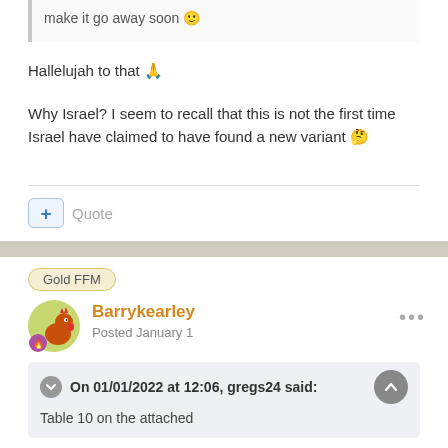make it go away soon 🙂
Hallelujah to that 🙏
Why Israel? I seem to recall that this is not the first time Israel have claimed to have found a new variant 🤔
+ Quote
Gold FFM
Barrykearley
Posted January 1
On 01/01/2022 at 12:06, gregs24 said:
Table 10 on the attached